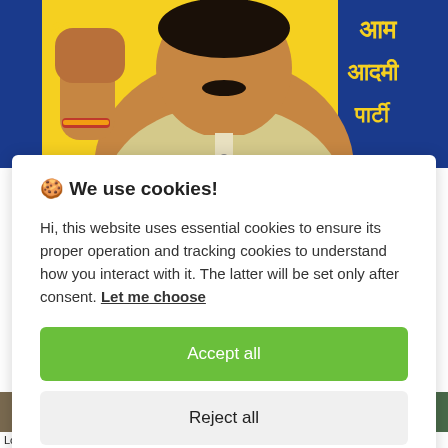[Figure (photo): Photo of a man in a light yellow shirt with raised fist, in front of an Aam Aadmi Party banner with Hindi text and blue/yellow colors]
🍪 We use cookies!

Hi, this website uses essential cookies to ensure its proper operation and tracking cookies to understand how you interact with it. The latter will be set only after consent. Let me choose

[Accept all]
[Reject all]
[Figure (photo): Bottom portion showing thumbnails of news article images; visible text at bottom: Loan App Scam: Rs 500 Cr Sent To China; 22 Indians...]